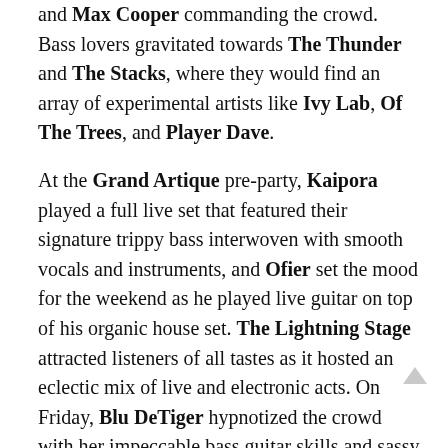and Max Cooper commanding the crowd. Bass lovers gravitated towards The Thunder and The Stacks, where they would find an array of experimental artists like Ivy Lab, Of The Trees, and Player Dave.

At the Grand Artique pre-party, Kaipora played a full live set that featured their signature trippy bass interwoven with smooth vocals and instruments, and Ofier set the mood for the weekend as he played live guitar on top of his organic house set. The Lightning Stage attracted listeners of all tastes as it hosted an eclectic mix of live and electronic acts. On Friday, Blu DeTiger hypnotized the crowd with her impeccable bass guitar skills and sassy vocals. LIB veteran Monolink performed a hybrid live-DJ set to thousands of endearing fans as the sun set on Saturday. On Sunday night, he played an intimate set t smaller crowd at The Junkyard with Marques Wyatt and Patricia, the curator of the stage — it was a moment that